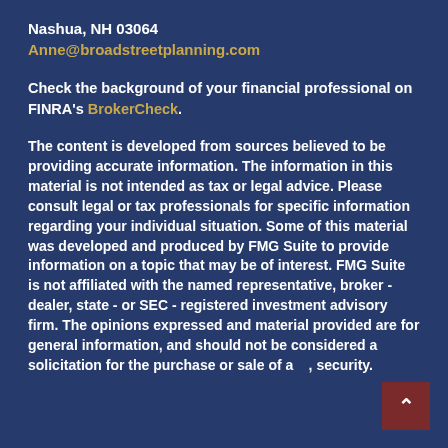Nashua, NH 03064
Anne@broadstreetplanning.com
Check the background of your financial professional on FINRA's BrokerCheck.
The content is developed from sources believed to be providing accurate information. The information in this material is not intended as tax or legal advice. Please consult legal or tax professionals for specific information regarding your individual situation. Some of this material was developed and produced by FMG Suite to provide information on a topic that may be of interest. FMG Suite is not affiliated with the named representative, broker - dealer, state - or SEC - registered investment advisory firm. The opinions expressed and material provided are for general information, and should not be considered a solicitation for the purchase or sale of any, security.